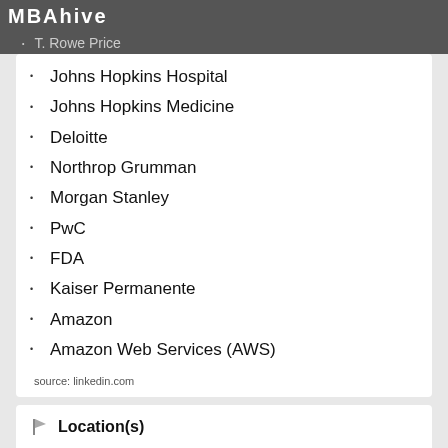MBAhive  T. Rowe Price
Johns Hopkins Hospital
Johns Hopkins Medicine
Deloitte
Northrop Grumman
Morgan Stanley
PwC
FDA
Kaiser Permanente
Amazon
Amazon Web Services (AWS)
source: linkedin.com
Location(s)
Baltimore